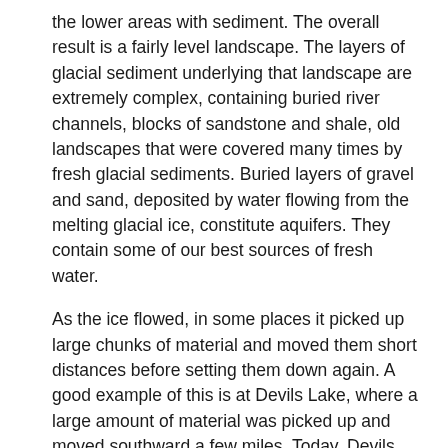the lower areas with sediment. The overall result is a fairly level landscape. The layers of glacial sediment underlying that landscape are extremely complex, containing buried river channels, blocks of sandstone and shale, old landscapes that were covered many times by fresh glacial sediments. Buried layers of gravel and sand, deposited by water flowing from the melting glacial ice, constitute aquifers. They contain some of our best sources of fresh water.
As the ice flowed, in some places it picked up large chunks of material and moved them short distances before setting them down again. A good example of this is at Devils Lake, where a large amount of material was picked up and moved southward a few miles. Today, Devils Lake lies in a broad lowland. South of the lake is a high range of hills, including Sully's Hill. The hills consist of materials that were once in the lowland where Devils Lake is now.
In some places, huge floods of water from melting glaciers carved deep river channels. Countless small meltwater valleys, along with some large ones too, are found throughout eastern and northern North Dakota. The Sheyenne, Souris, and James